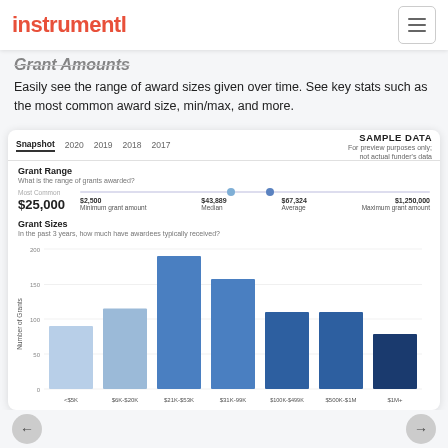instrumentl
Grant Amounts
Easily see the range of award sizes given over time. See key stats such as the most common award size, min/max, and more.
Snapshot | 2020 | 2019 | 2018 | 2017 | SAMPLE DATA For preview purposes only; not actual funder's data
Grant Range
What is the range of grants awarded?
Most Common $25,000
$2,500 Minimum grant amount | $43,889 Median | $67,324 Average | $1,250,000 Maximum grant amount
Grant Sizes
In the past 3 years, how much have awardees typically received?
[Figure (bar-chart): Grant Sizes]